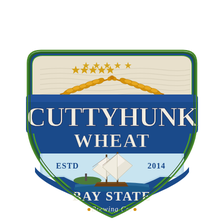[Figure (logo): Cuttyhunk Wheat beer label logo for Bay State Brewing Co. Shield/badge shape with blue banner reading CUTTYHUNK in large white serif letters, WHEAT below in white, wheat stalks crossing the top, five gold stars across top panel, light blue panel with ESTD 2014 flanking a tall sailing ship illustration, green coastal scene behind ship, dark blue bottom panel with BAY STATE in large white letters and 'Brewing Co.' in italic script below.]